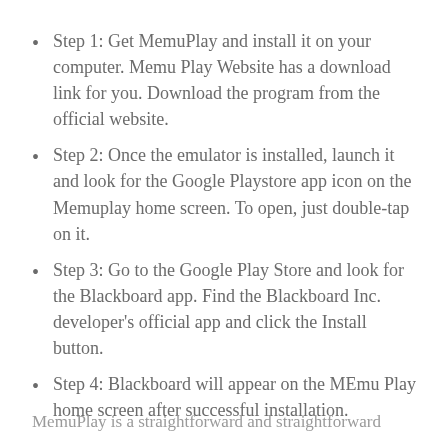Step 1: Get MemuPlay and install it on your computer. Memu Play Website has a download link for you. Download the program from the official website.
Step 2: Once the emulator is installed, launch it and look for the Google Playstore app icon on the Memuplay home screen. To open, just double-tap on it.
Step 3: Go to the Google Play Store and look for the Blackboard app. Find the Blackboard Inc. developer's official app and click the Install button.
Step 4: Blackboard will appear on the MEmu Play home screen after successful installation.
MemuPlay is a straightforward and straightforward